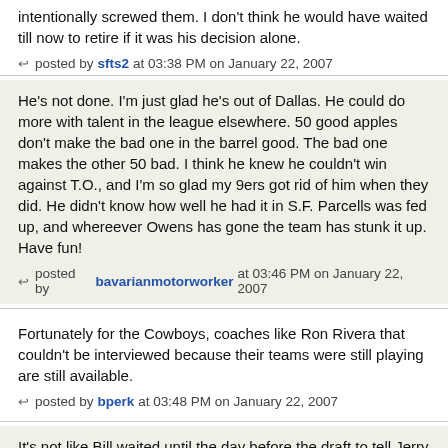intentionally screwed them. I don't think he would have waited till now to retire if it was his decision alone.
posted by sfts2 at 03:38 PM on January 22, 2007
He's not done. I'm just glad he's out of Dallas. He could do more with talent in the league elsewhere. 50 good apples don't make the bad one in the barrel good. The bad one makes the other 50 bad. I think he knew he couldn't win against T.O., and I'm so glad my 9ers got rid of him when they did. He didn't know how well he had it in S.F. Parcells was fed up, and whereever Owens has gone the team has stunk it up. Have fun!
posted by bavarianmotorworker at 03:46 PM on January 22, 2007
Fortunately for the Cowboys, coaches like Ron Rivera that couldn't be interviewed because their teams were still playing are still available.
posted by bperk at 03:48 PM on January 22, 2007
It's not like Bill waited until the day before the draft to tell Jerry he was leaving. He coached his last game, an emotional one at that, just 3 weeks ago. Three weeks to make a life changing decision is not unusal. I agree with those who just think Bill ran out of gas and was not having any fun. He is leaving to see if he can have as much fun as Jimmy Johnson is having. Thanks for the 4 years, Bill.